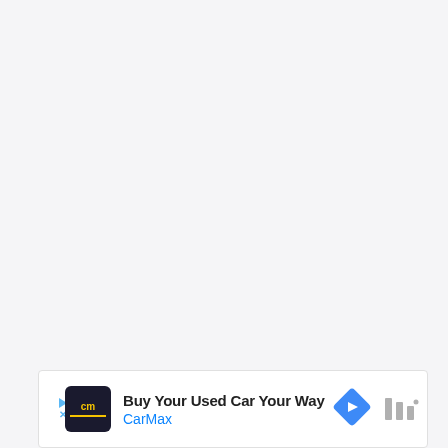[Figure (other): Large blank/empty gray area taking up most of the page, representing a web page content area]
[Figure (infographic): CarMax advertisement banner at the bottom of the page. Contains CarMax logo (dark background with 'cm' text and yellow underline), headline text 'Buy Your Used Car Your Way', brand name 'CarMax' in blue, a blue diamond-shaped navigation arrow icon, and a Waze-style icon. Has a play/close button on the left side.]